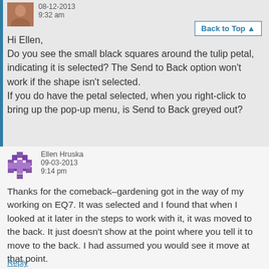08-12-2013
9:32 am
Back to Top ▲
Hi Ellen,
Do you see the small black squares around the tulip petal, indicating it is selected? The Send to Back option won't work if the shape isn't selected.
If you do have the petal selected, when you right-click to bring up the pop-up menu, is Send to Back greyed out?
Ellen Hruska
09-03-2013
9:14 pm
Thanks for the comeback–gardening got in the way of my working on EQ7. It was selected and I found that when I looked at it later in the steps to work with it, it was moved to the back. It just doesn't show at the point where you tell it to move to the back. I had assumed you would see it move at that point.
Reply